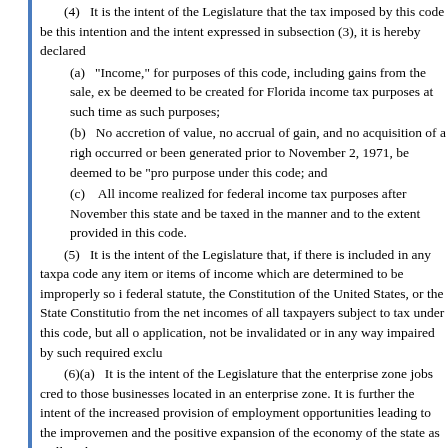(4) It is the intent of the Legislature that the tax imposed by this code be... this intention and the intent expressed in subsection (3), it is hereby declared...
(a) "Income," for purposes of this code, including gains from the sale, ex... be deemed to be created for Florida income tax purposes at such time as such... purposes;
(b) No accretion of value, no accrual of gain, and no acquisition of a right... occurred or been generated prior to November 2, 1971, be deemed to be "pro... purpose under this code; and
(c) All income realized for federal income tax purposes after November... this state and be taxed in the manner and to the extent provided in this code.
(5) It is the intent of the Legislature that, if there is included in any taxpa... code any item or items of income which are determined to be improperly so i... federal statute, the Constitution of the United States, or the State Constitution... from the net incomes of all taxpayers subject to tax under this code, but all o... application, not be invalidated or in any way impaired by such required exclu...
(6)(a) It is the intent of the Legislature that the enterprise zone jobs cred... to those businesses located in an enterprise zone. It is further the intent of the... increased provision of employment opportunities leading to the improvement... and the positive expansion of the economy of the state as well as the econom...
(b) Any person charged with any criminal offense arising from a civil di... defined in s. 220.03(1)(i), and found guilty, whether or not adjudication of gu... deferred, or withheld, is not eligible to make application for, receive, or in an... form of assistance available under chapter 80-247, Laws of Florida.